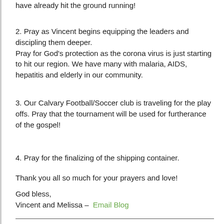have already hit the ground running!
2. Pray as Vincent begins equipping the leaders and discipling them deeper.
Pray for God's protection as the corona virus is just starting to hit our region. We have many with malaria, AIDS, hepatitis and elderly in our community.
3. Our Calvary Football/Soccer club is traveling for the play offs. Pray that the tournament will be used for furtherance of the gospel!
4. Pray for the finalizing of the shipping container.
Thank you all so much for your prayers and love!
God bless,
Vincent and Melissa – Email Blog